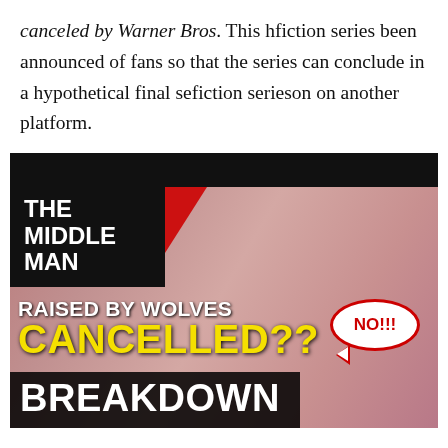canceled by Warner Bros. This hfiction series been announced of fans so that the series can conclude in a hypothetical final sefiction serieson on another platform.
[Figure (screenshot): Video thumbnail for 'The Middle Man' YouTube channel showing a bloody-faced character. Text overlay reads: 'THE MIDDLE MAN', 'RAISED BY WOLVES', 'CANCELLED??' (in yellow), 'BREAKDOWN', with a speech bubble saying 'NO!!!' in red.]